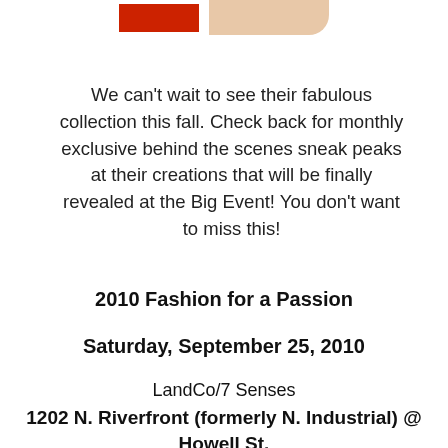[Figure (photo): Partial image at top showing a red box/sign on the left and a hand on the right, cropped at the bottom edge of the image area.]
We can’t wait to see their fabulous collection this fall. Check back for monthly exclusive behind the scenes sneak peaks at their creations that will be finally revealed at the Big Event! You don’t want to miss this!
2010 Fashion for a Passion
Saturday, September 25, 2010
LandCo/7 Senses
1202 N. Riverfront (formerly N. Industrial) @ Howell St.